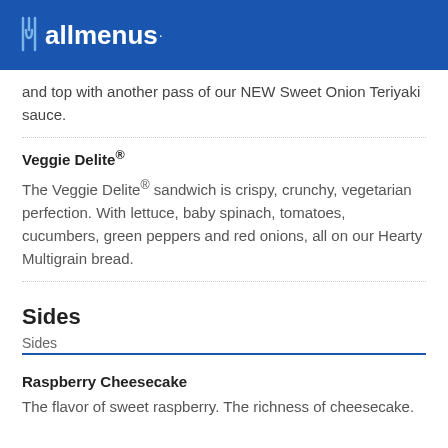allmenus
and top with another pass of our NEW Sweet Onion Teriyaki sauce.
Veggie Delite®
The Veggie Delite® sandwich is crispy, crunchy, vegetarian perfection. With lettuce, baby spinach, tomatoes, cucumbers, green peppers and red onions, all on our Hearty Multigrain bread.
Sides
Sides
Raspberry Cheesecake
The flavor of sweet raspberry. The richness of cheesecake.